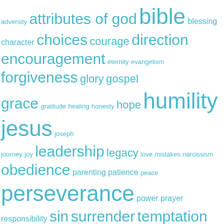[Figure (other): Tag/word cloud with terms related to Christian/religious topics, displayed in varying sizes in teal/cyan color. Terms include: adversity, attributes of god, bible, blessing, character, choices, courage, direction, encouragement, eternity, evangelism, forgiveness, glory, gospel, grace, gratitude, healing, honesty, hope, humility, jesus, joseph, journey, joy, leadership, legacy, love, mistakes, narcissism, obedience, parenting, patience, peace, perseverance, power, prayer, responsibility, sin, surrender, temptation, trust, truth, understanding, wisdom, worship]
Archives
Archives
Select Month
Categories
Categories
Select Category